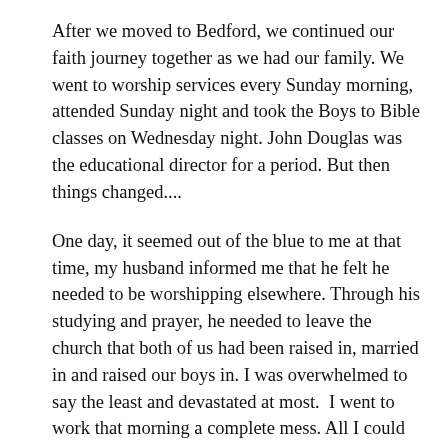After we moved to Bedford, we continued our faith journey together as we had our family. We went to worship services every Sunday morning, attended Sunday night and took the Boys to Bible classes on Wednesday night. John Douglas was the educational director for a period. But then things changed....
One day, it seemed out of the blue to me at that time, my husband informed me that he felt he needed to be worshipping elsewhere. Through his studying and prayer, he needed to leave the church that both of us had been raised in, married in and raised our boys in. I was overwhelmed to say the least and devastated at most.  I went to work that morning a complete mess. All I could do was cry. Had everything been a lie!? I told a good friend, “I can fight another woman, but how do I deal with him wanting to serve God differently than how I think he should?”